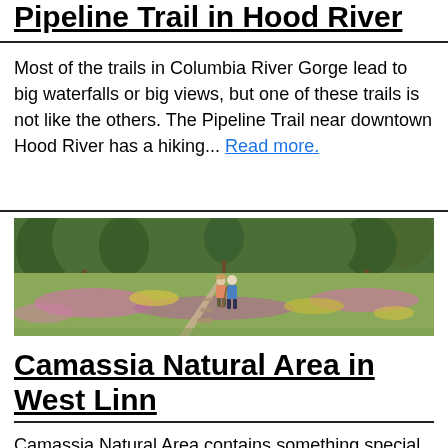Pipeline Trail in Hood River
Most of the trails in Columbia River Gorge lead to big waterfalls or big views, but one of these trails is not like the others. The Pipeline Trail near downtown Hood River has a hiking... Read more.
[Figure (photo): Two hikers walking along a trail through a meadow filled with wildflowers (pink/purple and yellow), with trees in the background.]
Camassia Natural Area in West Linn
Camassia Natural Area contains something special